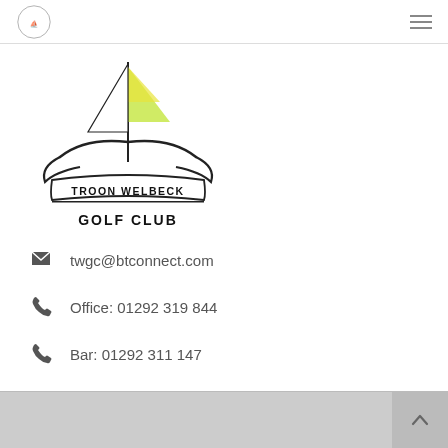Troon Welbeck Golf Club navigation header
[Figure (logo): Troon Welbeck Golf Club logo: a Viking ship with green and yellow striped sail above a banner reading 'TROON WELBECK GOLF CLUB']
twgc@btconnect.com
Office: 01292 319 844
Bar: 01292 311 147
Scroll to top button